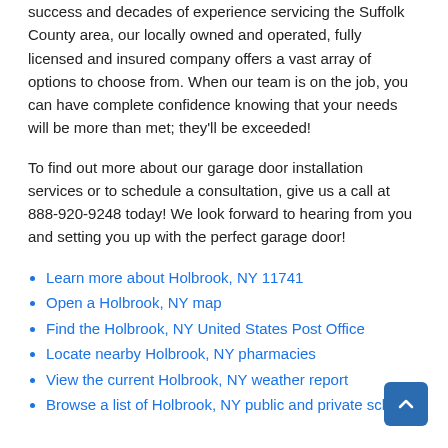success and decades of experience servicing the Suffolk County area, our locally owned and operated, fully licensed and insured company offers a vast array of options to choose from. When our team is on the job, you can have complete confidence knowing that your needs will be more than met; they'll be exceeded!
To find out more about our garage door installation services or to schedule a consultation, give us a call at 888-920-9248 today! We look forward to hearing from you and setting you up with the perfect garage door!
Learn more about Holbrook, NY 11741
Open a Holbrook, NY map
Find the Holbrook, NY United States Post Office
Locate nearby Holbrook, NY pharmacies
View the current Holbrook, NY weather report
Browse a list of Holbrook, NY public and private schools